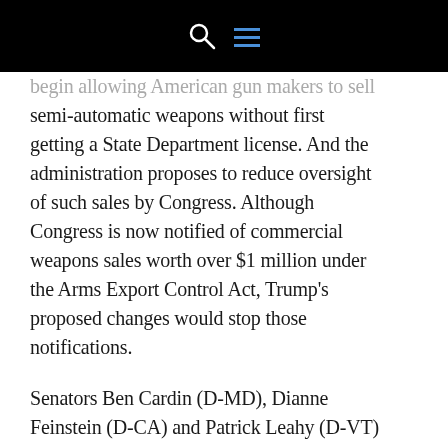[navigation bar with search and menu icons]
begin allowing American gun makers to sell semi-automatic weapons without first getting a State Department license. And the administration proposes to reduce oversight of such sales by Congress. Although Congress is now notified of commercial weapons sales worth over $1 million under the Arms Export Control Act, Trump's proposed changes would stop those notifications.
Senators Ben Cardin (D-MD), Dianne Feinstein (D-CA) and Patrick Leahy (D-VT) have criticized the proposed changes, but the National Rifle Association and gun manufacturers have praised their support...